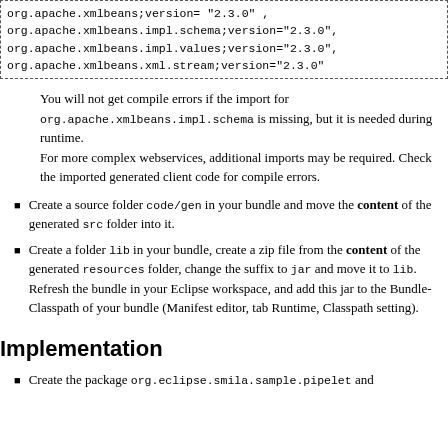org.apache.xmlbeans;version="2.3.0",
org.apache.xmlbeans.impl.schema;version="2.3.0",
org.apache.xmlbeans.impl.values;version="2.3.0",
org.apache.xmlbeans.xml.stream;version="2.3.0"
You will not get compile errors if the import for org.apache.xmlbeans.impl.schema is missing, but it is needed during runtime.
For more complex webservices, additional imports may be required. Check the imported generated client code for compile errors.
Create a source folder code/gen in your bundle and move the content of the generated src folder into it.
Create a folder lib in your bundle, create a zip file from the content of the generated resources folder, change the suffix to jar and move it to lib. Refresh the bundle in your Eclipse workspace, and add this jar to the Bundle-Classpath of your bundle (Manifest editor, tab Runtime, Classpath setting).
Implementation
Create the package org.eclipse.smila.sample.pipelet and